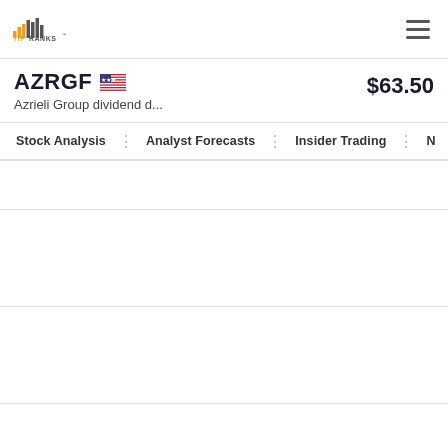TipRanks
AZRGF  Azrieli Group dividend d...  $63.50
Stock Analysis | Analyst Forecasts | Insider Trading | N